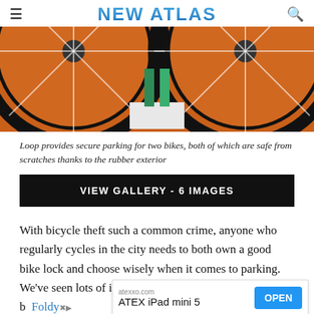NEW ATLAS
[Figure (photo): Orange bicycle stand holding two orange-wheeled bikes from below, with a white base and green vertical poles visible in the center]
Loop provides secure parking for two bikes, both of which are safe from scratches thanks to the rubber exterior
VIEW GALLERY - 6 IMAGES
With bicycle theft such a common crime, anyone who regularly cycles in the city needs to both own a good bike lock and choose wisely when it comes to parking. We've seen lots of innovative approaches to both b [Foldy...] l and